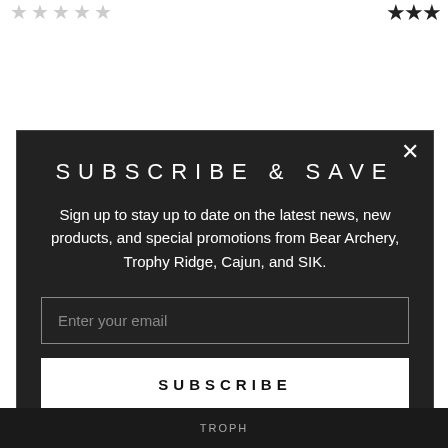[Figure (other): Five grey star rating icons in the top left corner]
[Figure (other): Three dark/black star icons in the top right corner]
SUBSCRIBE & SAVE
Sign up to stay up to date on the latest news, new products, and special promotions from Bear Archery, Trophy Ridge, Cajun, and SIK.
Enter your email
SUBSCRIBE
[Figure (photo): Partial image of archery equipment at the bottom of the page, dark background with a logo partially visible reading TROPH]